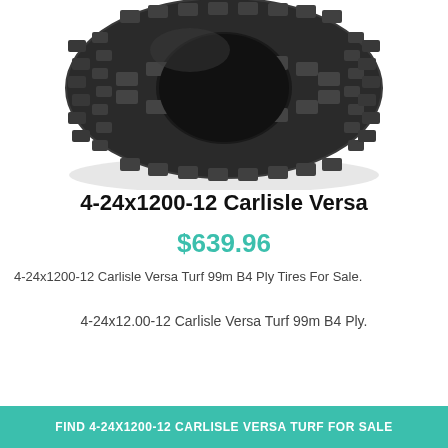[Figure (photo): Close-up photo of a black rubber tire with knobby tread pattern, viewed from slightly above, showing the tread face and sidewall. The tire is a Carlisle Versa Turf type.]
4-24x1200-12 Carlisle Versa
$639.96
4-24x1200-12 Carlisle Versa Turf 99m B4 Ply Tires For Sale.
4-24x12.00-12 Carlisle Versa Turf 99m B4 Ply.
FIND 4-24X1200-12 CARLISLE VERSA TURF FOR SALE